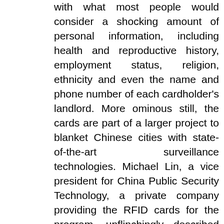with what most people would consider a shocking amount of personal information, including health and reproductive history, employment status, religion, ethnicity and even the name and phone number of each cardholder's landlord. More ominous still, the cards are part of a larger project to blanket Chinese cities with state-of-the-art surveillance technologies. Michael Lin, a vice president for China Public Security Technology, a private company providing the RFID cards for the program, unflinchingly described them to the New York Times as “a way for the government to control the population in the future.” And even if other governments do not take advantage of the surveillance potential inherent in the new ID cards, ample evidence suggests that data-hungry corporations will.